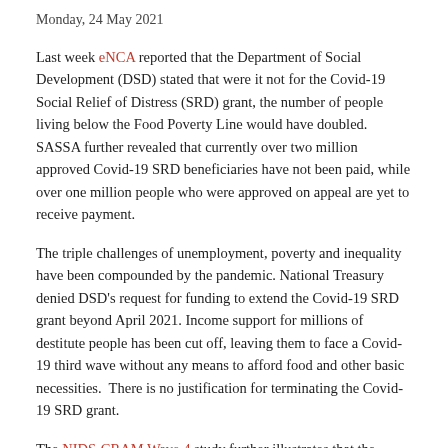Monday, 24 May 2021
Last week eNCA reported that the Department of Social Development (DSD) stated that were it not for the Covid-19 Social Relief of Distress (SRD) grant, the number of people living below the Food Poverty Line would have doubled. SASSA further revealed that currently over two million approved Covid-19 SRD beneficiaries have not been paid, while over one million people who were approved on appeal are yet to receive payment.
The triple challenges of unemployment, poverty and inequality have been compounded by the pandemic. National Treasury denied DSD's request for funding to extend the Covid-19 SRD grant beyond April 2021. Income support for millions of destitute people has been cut off, leaving them to face a Covid-19 third wave without any means to afford food and other basic necessities.  There is no justification for terminating the Covid-19 SRD grant.
The NIDS-CRAM Wave 4 study further illustrates that the decision to